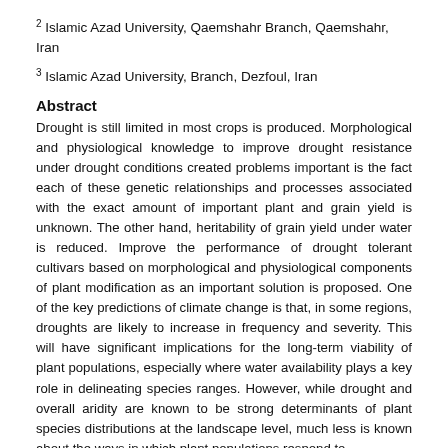2 Islamic Azad University, Qaemshahr Branch, Qaemshahr, Iran
3 Islamic Azad University, Branch, Dezfoul, Iran
Abstract
Drought is still limited in most crops is produced. Morphological and physiological knowledge to improve drought resistance under drought conditions created problems important is the fact each of these genetic relationships and processes associated with the exact amount of important plant and grain yield is unknown. The other hand, heritability of grain yield under water is reduced. Improve the performance of drought tolerant cultivars based on morphological and physiological components of plant modification as an important solution is proposed. One of the key predictions of climate change is that, in some regions, droughts are likely to increase in frequency and severity. This will have significant implications for the long-term viability of plant populations, especially where water availability plays a key role in delineating species ranges. However, while drought and overall aridity are known to be strong determinants of plant species distributions at the landscape level, much less is known about the ways in which plant populations respond to